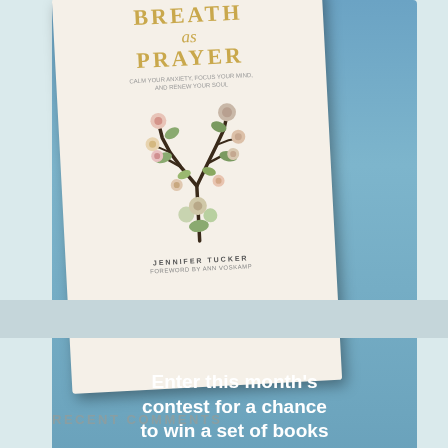[Figure (illustration): Book advertisement widget showing 'Breath as Prayer' book by Jennifer Tucker with a floral lung illustration on the cover. Below the book image is text 'Enter this month's contest for a chance to win a set of books for your book club!' with a black 'GET WIDGET' button. Background is a blue gradient.]
RECENT COMMENTS